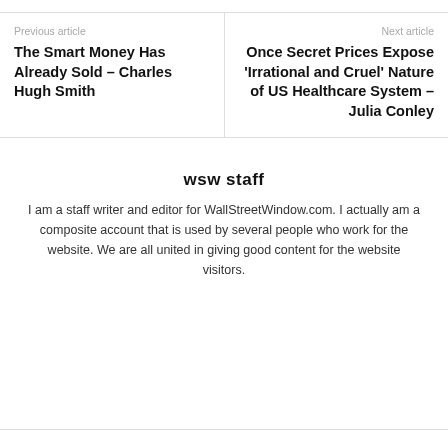Previous article
The Smart Money Has Already Sold – Charles Hugh Smith
Next article
Once Secret Prices Expose 'Irrational and Cruel' Nature of US Healthcare System – Julia Conley
wsw staff
I am a staff writer and editor for WallStreetWindow.com. I actually am a composite account that is used by several people who work for the website. We are all united in giving good content for the website visitors.